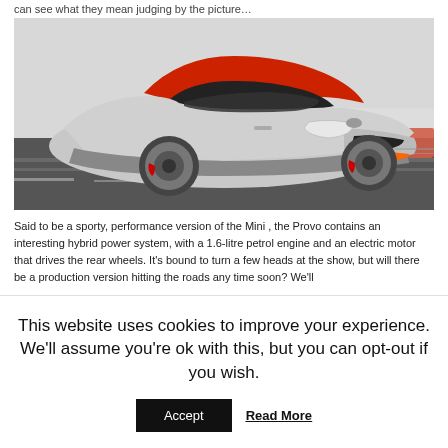can see what they mean judging by the picture…
[Figure (photo): A silver and red Kia Provo concept car driving on a track, front three-quarter view, with orange accents on the front bumper and red brake calipers.]
Said to be a sporty, performance version of the Mini , the Provo contains an interesting hybrid power system, with a 1.6-litre petrol engine and an electric motor that drives the rear wheels. It's bound to turn a few heads at the show, but will there be a production version hitting the roads any time soon? We'll
This website uses cookies to improve your experience. We'll assume you're ok with this, but you can opt-out if you wish.